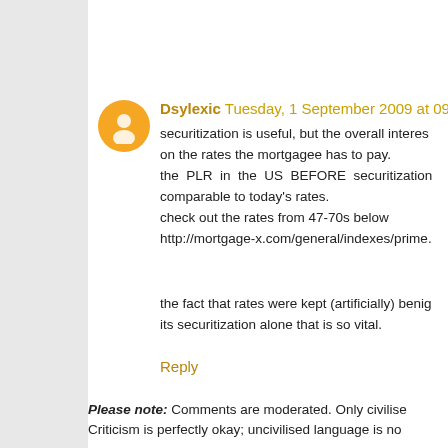Dsylexic  Tuesday, 1 September 2009 at 09:3...
securitization is useful, but the overall interes... on the rates the mortgagee has to pay. the PLR in the US BEFORE securitization... comparable to today's rates. check out the rates from 47-70s below http://mortgage-x.com/general/indexes/prime....
the fact that rates were kept (artificially) benig... its securitization alone that is so vital.
Reply
Please note: Comments are moderated. Only civilise... Criticism is perfectly okay; uncivilised language is no...